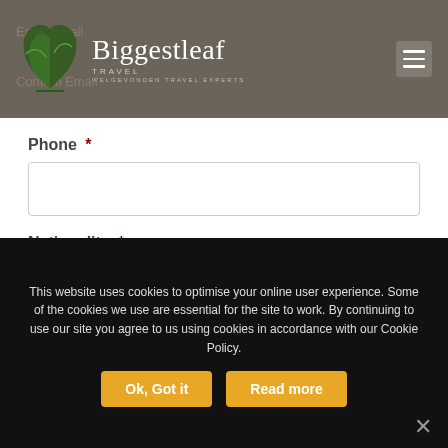[Figure (logo): Biggestleaf Travel logo with green leaf SVG graphic and text 'Biggestleaf TRAVEL WELGEVONDEN TRAVEL EXPERTS' on dark grey header background]
Enter Email
Confirm Email
Phone *
Nationality *
Please Choose
How many people? *
This website uses cookies to optimise your online user experience. Some of the cookies we use are essential for the site to work. By continuing to use our site you agree to us using cookies in accordance with our Cookie Policy.
Ok, Got it
Read more